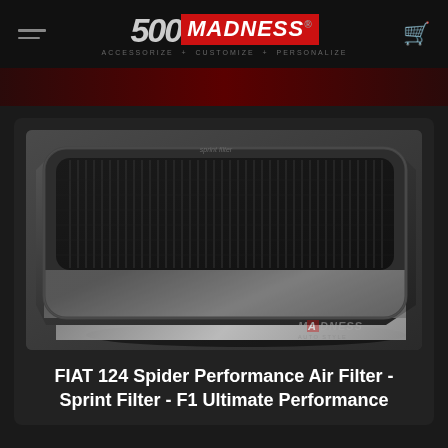500 MADNESS - ACCESSORIZE + CUSTOMIZE + PERSONALIZE
[Figure (photo): Close-up photograph of a rectangular performance air filter panel with a black rubber frame and black pleated/mesh filtration media, angled perspective view. MADNESS watermark visible in bottom right corner.]
FIAT 124 Spider Performance Air Filter - Sprint Filter - F1 Ultimate Performance